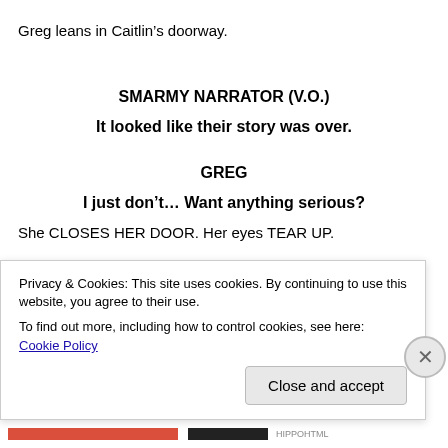Greg leans in Caitlin’s doorway.
SMARMY NARRATOR (V.O.)
It looked like their story was over.
GREG
I just don’t… Want anything serious?
She CLOSES HER DOOR. Her eyes TEAR UP.
SMARMY NARRATOR (V.O.)
She’ll try to move on.
INT. FANCY COCKTAIL PARTY – NIGHT
Privacy & Cookies: This site uses cookies. By continuing to use this website, you agree to their use.
To find out more, including how to control cookies, see here: Cookie Policy
Close and accept